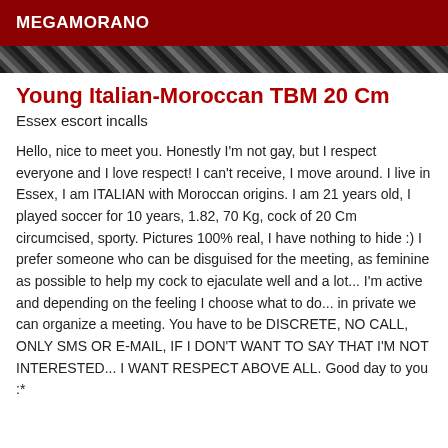MEGAMORANO
[Figure (photo): Strip of partial photos showing a person, appearing as a horizontal band of images]
Young Italian-Moroccan TBM 20 Cm
Essex escort incalls
Hello, nice to meet you. Honestly I'm not gay, but I respect everyone and I love respect! I can't receive, I move around. I live in Essex, I am ITALIAN with Moroccan origins. I am 21 years old, I played soccer for 10 years, 1.82, 70 Kg, cock of 20 Cm circumcised, sporty. Pictures 100% real, I have nothing to hide :) I prefer someone who can be disguised for the meeting, as feminine as possible to help my cock to ejaculate well and a lot... I'm active and depending on the feeling I choose what to do... in private we can organize a meeting. You have to be DISCRETE, NO CALL, ONLY SMS OR E-MAIL, IF I DON'T WANT TO SAY THAT I'M NOT INTERESTED... I WANT RESPECT ABOVE ALL. Good day to you :*